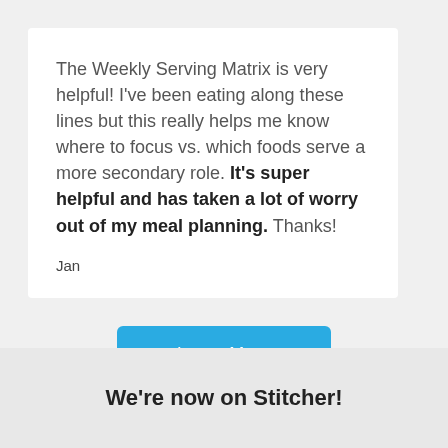The Weekly Serving Matrix is very helpful! I've been eating along these lines but this really helps me know where to focus vs. which foods serve a more secondary role. It's super helpful and has taken a lot of worry out of my meal planning. Thanks!
Jan
Learn More
We're now on Stitcher!